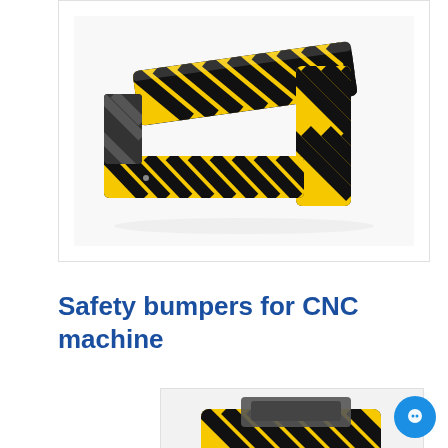[Figure (photo): Yellow and black striped safety bumpers/foam protectors for CNC machines, arranged to form a partial rectangular frame shape, photographed on a white background]
Safety bumpers for CNC machine
[Figure (photo): Partially visible product image at bottom of page, appears to show a safety bumper or protective device, yellow and black colored]